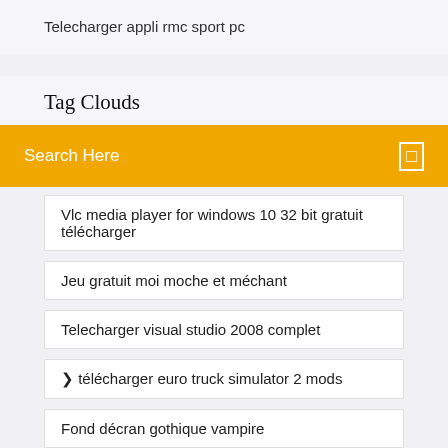Telecharger appli rmc sport pc
Tag Clouds
Search Here
Vlc media player for windows 10 32 bit gratuit télécharger
Jeu gratuit moi moche et méchant
Telecharger visual studio 2008 complet
❯ télécharger euro truck simulator 2 mods
Fond décran gothique vampire
Nicholas sparks famous novels